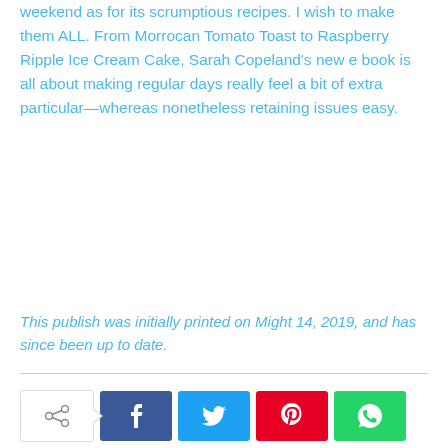weekend as for its scrumptious recipes. I wish to make them ALL. From Morrocan Tomato Toast to Raspberry Ripple Ice Cream Cake, Sarah Copeland's new e book is all about making regular days really feel a bit of extra particular—whereas nonetheless retaining issues easy.
This publish was initially printed on Might 14, 2019, and has since been up to date.
[Figure (other): Social share bar with share icon button (with arrow), Facebook button (f), Twitter button (bird icon), Pinterest button (P), WhatsApp button (phone icon)]